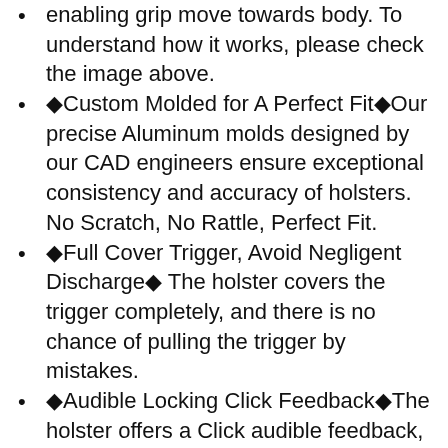enabling grip move towards body. To understand how it works, please check the image above.
🔷Custom Molded for A Perfect Fit🔷Our precise Aluminum molds designed by our CAD engineers ensure exceptional consistency and accuracy of holsters. No Scratch, No Rattle, Perfect Fit.
🔷Full Cover Trigger, Avoid Negligent Discharge🔷 The holster covers the trigger completely, and there is no chance of pulling the trigger by mistakes.
🔷Audible Locking Click Feedback🔷The holster offers a Click audible feedback, letting you know your pistol is firmly seated in the pistol.
🔷Adjustable Cant🔷The Carry Angle (Cant) can be adjusted from -5° to 25°, use phillips screwdriver to customize the CANT.
🔷Adjustable Retention🔷Retention pressure can be adjusted with phillips screwdriver for a fast and smooth draw.